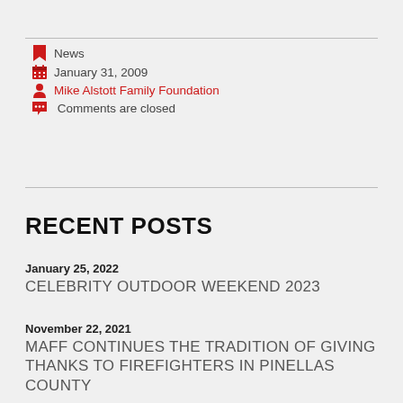News
January 31, 2009
Mike Alstott Family Foundation
Comments are closed
RECENT POSTS
January 25, 2022
CELEBRITY OUTDOOR WEEKEND 2023
November 22, 2021
MAFF CONTINUES THE TRADITION OF GIVING THANKS TO FIREFIGHTERS IN PINELLAS COUNTY